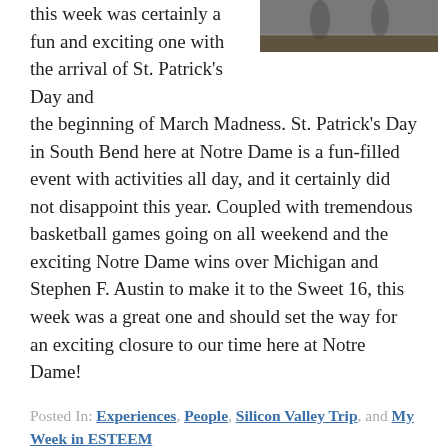this week was certainly a fun and exciting one with the arrival of St. Patrick's Day and the beginning of March Madness. St. Patrick's Day in South Bend here at Notre Dame is a fun-filled event with activities all day, and it certainly did not disappoint this year. Coupled with tremendous basketball games going on all weekend and the exciting Notre Dame wins over Michigan and Stephen F. Austin to make it to the Sweet 16, this week was a great one and should set the way for an exciting closure to our time here at Notre Dame!
[Figure (photo): Basketball court photo showing players on a gymnasium floor]
Posted In: Experiences, People, Silicon Valley Trip, and My Week in ESTEEM
Home
Experience